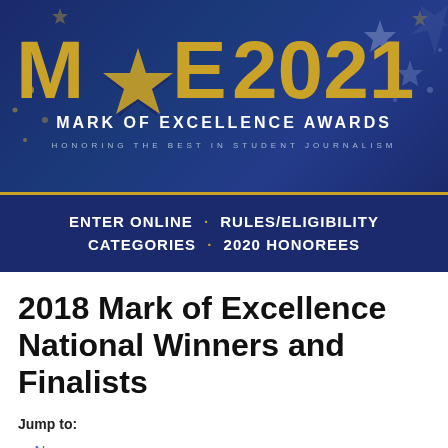[Figure (logo): MOE 2021 Mark of Excellence Awards banner with gold text on dark blue background with stars. Text reads: MOE 2021, MARK OF EXCELLENCE AWARDS, HONORING THE BEST IN STUDENT JOURNALISM]
ENTER ONLINE · RULES/ELIGIBILITY CATEGORIES · 2020 HONOREES
2018 Mark of Excellence National Winners and Finalists
Jump to:
– Newspapers
– Magazines
– Art/Graphics
– Radio